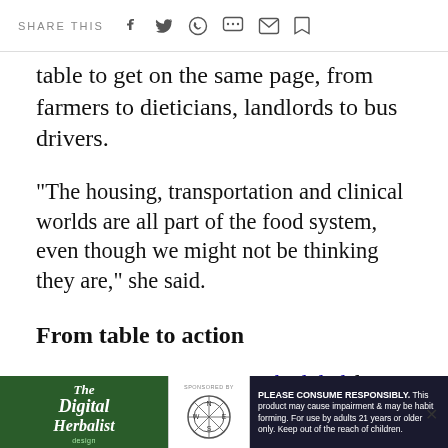SHARE THIS
table to get on the same page, from farmers to dieticians, landlords to bus drivers.
"The housing, transportation and clinical worlds are all part of the food system, even though we might not be thinking they are," she said.
From table to action
At its Dec. 10, meeting, scheduled for 10 a.m. at The Green, 85 Main St. in North Adams,   participants… and agenda… iness